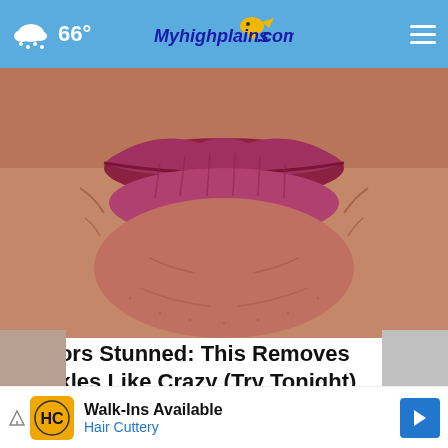66° Myhighplains.com
[Figure (photo): Close-up photograph of elderly person's lips and surrounding wrinkled skin]
Doctors Stunned: This Removes Wrinkles Like Crazy (Try Tonight)
Rejuvalift
[Figure (screenshot): Advertisement banner: Walk-Ins Available Hair Cuttery with HC logo]